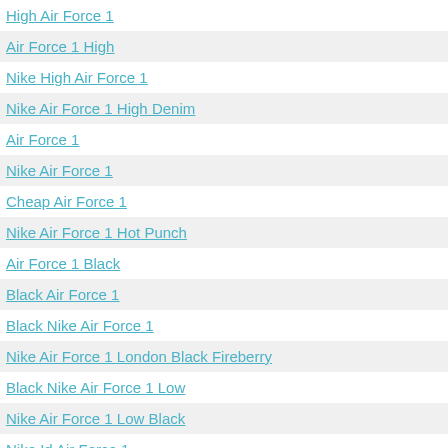High Air Force 1
Air Force 1 High
Nike High Air Force 1
Nike Air Force 1 High Denim
Air Force 1
Nike Air Force 1
Cheap Air Force 1
Nike Air Force 1 Hot Punch
Air Force 1 Black
Black Air Force 1
Black Nike Air Force 1
Nike Air Force 1 London Black Fireberry
Black Nike Air Force 1 Low
Nike Air Force 1 Low Black
Nike Id Air Force 1
Nike Air Force 1 Low Asteroid Black Fire
Black Nike Air Force 1 Low
Nike Air Force 1 Low Black
Green Nike Air Force 1
Nike Air Force 1 Low Black Green Glow
Nike Air Force 1 Medium
Grey Air Force 1
Air Force 1 Grey